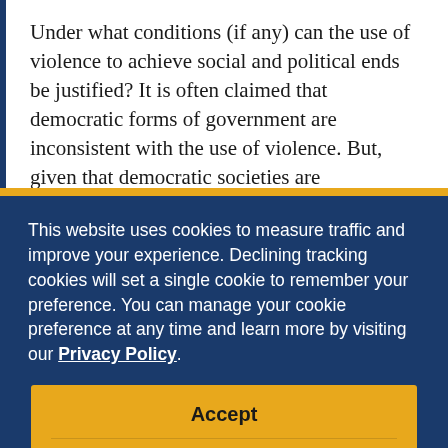Under what conditions (if any) can the use of violence to achieve social and political ends be justified? It is often claimed that democratic forms of government are inconsistent with the use of violence. But, given that democratic societies are
This website uses cookies to measure traffic and improve your experience. Declining tracking cookies will set a single cookie to remember your preference. You can manage your cookie preference at any time and learn more by visiting our Privacy Policy.
Accept
Decline